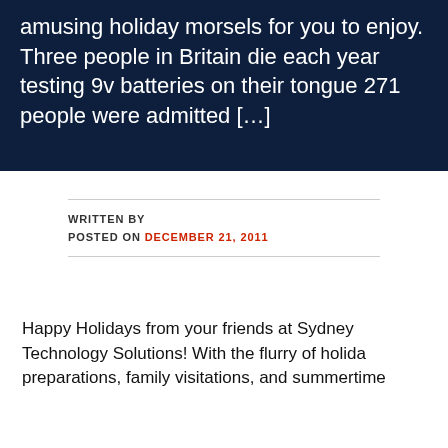amusing holiday morsels for you to enjoy. Three people in Britain die each year testing 9v batteries on their tongue 271 people were admitted […]
WRITTEN BY
POSTED ON DECEMBER 21, 2011
Happy Holidays from your friends at Sydney Technology Solutions! With the flurry of holiday preparations, family visitations, and summertime